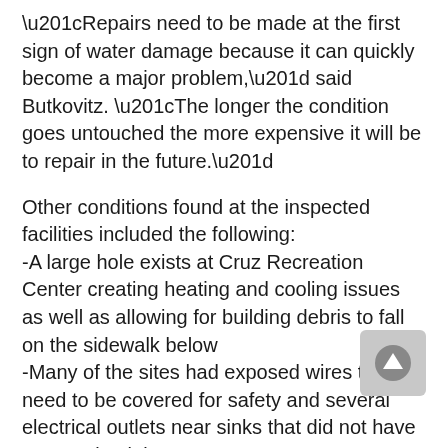“Repairs need to be made at the first sign of water damage because it can quickly become a major problem,” said Butkovitz. “The longer the condition goes untouched the more expensive it will be to repair in the future.”
Other conditions found at the inspected facilities included the following:
-A large hole exists at Cruz Recreation Center creating heating and cooling issues as well as allowing for building debris to fall on the sidewalk below
-Many of the sites had exposed wires that need to be covered for safety and several electrical outlets near sinks that did not have proper circuit interrupters.
-Outdoor storm drains were clogged causing minor flooding issues as well as the risk for mosquito problems and the associated health issues.
“Parks and Recreation needs to develop a plan to inspect every recreation center and playground to